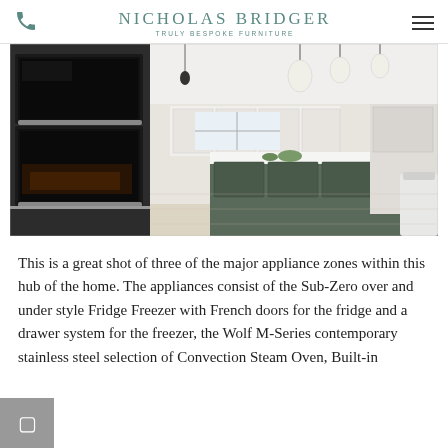Nicholas Bridger — Truly Bespoke Furniture
[Figure (photo): Interior kitchen photograph showing three major appliance zones: stainless steel double ovens on the left wall, a long kitchen island with dark grey cabinetry in the center, white cabinetry along the back wall, pendant lights hanging from the ceiling, and a bar stool visible on the right.]
This is a great shot of three of the major appliance zones within this hub of the home. The appliances consist of the Sub-Zero over and under style Fridge Freezer with French doors for the fridge and a drawer system for the freezer, the Wolf M-Series contemporary stainless steel selection of Convection Steam Oven, Built-in